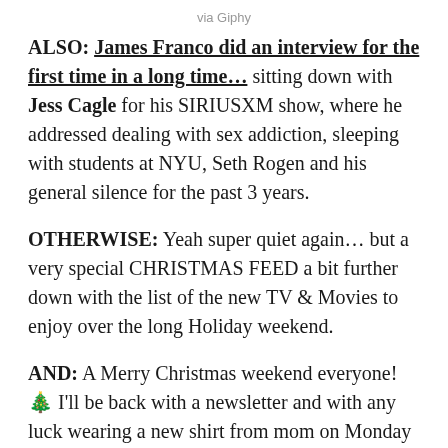via Giphy
ALSO: James Franco did an interview for the first time in a long time… sitting down with Jess Cagle for his SIRIUSXM show, where he addressed dealing with sex addiction, sleeping with students at NYU, Seth Rogen and his general silence for the past 3 years.
OTHERWISE: Yeah super quiet again… but a very special CHRISTMAS FEED a bit further down with the list of the new TV & Movies to enjoy over the long Holiday weekend.
AND: A Merry Christmas weekend everyone! 🎄 I'll be back with a newsletter and with any luck wearing a new shirt from mom on Monday because